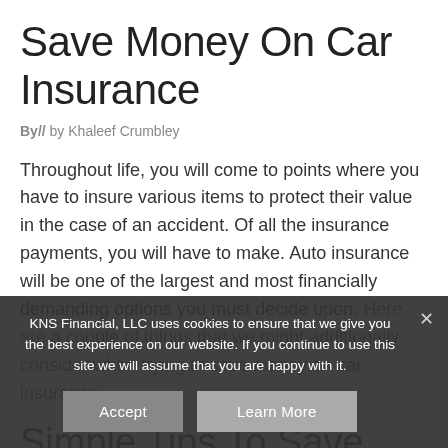Save Money On Car Insurance
By//  by Khaleef Crumbley
Throughout life, you will come to points where you have to insure various items to protect their value in the case of an accident. Of all the insurance payments, you will have to make. Auto insurance will be one of the largest and most financially demanding options you must decide upon. Here are a couple of things that we might additionally consider when trying to save money on car insurance.
Simple Tips To Save Money On Car Insurance
KNS Financial, LLC uses cookies to ensure that we give you the best experience on our website. If you continue to use this site we will assume that you are happy with it.